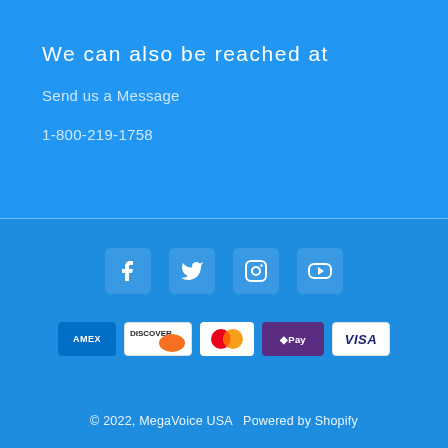We can also be reached at
Send us a Message
1-800-219-1758
[Figure (infographic): Social media icons row: Facebook, Twitter, Instagram, YouTube]
[Figure (infographic): Payment method icons: AMEX, Discover, Mastercard, D Pay, VISA]
© 2022, MegaVoice USA  Powered by Shopify